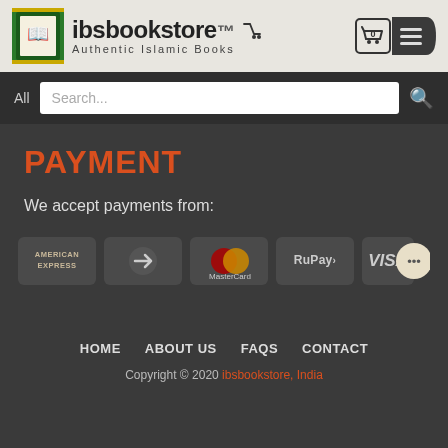[Figure (logo): ibsbookstore logo with green book icon and cart, tagline 'Authentic Islamic Books']
All  Search...
PAYMENT
We accept payments from:
[Figure (infographic): Payment method icons: American Express, generic card, MasterCard, RuPay, VISA, and chat bubble icon]
HOME   ABOUT US   FAQS   CONTACT
Copyright © 2020 ibsbookstore, India